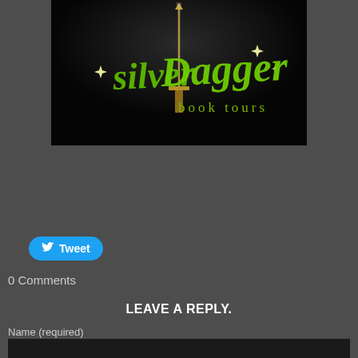[Figure (logo): Silver Dagger Book Tours logo on black background with a golden dagger and green cursive lettering]
Tweet
0 Comments
LEAVE A REPLY.
Name (required)